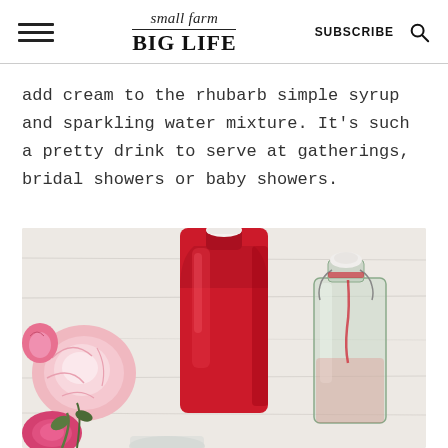small farm BIG LIFE | SUBSCRIBE
add cream to the rhubarb simple syrup and sparkling water mixture. It's such a pretty drink to serve at gatherings, bridal showers or baby showers.
[Figure (photo): Two bottles on a white surface with pink flowers on the left. The center bottle is filled with red rhubarb simple syrup. The right bottle is a clear glass swing-top bottle with some red liquid. Background is light/white wood.]